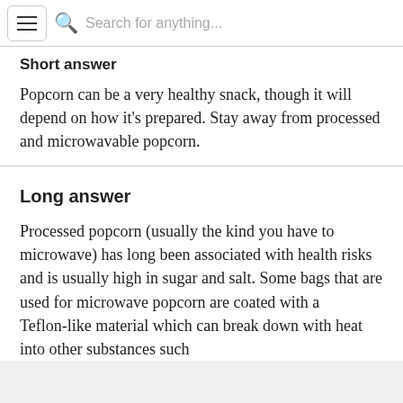Search for anything...
Short answer
Popcorn can be a very healthy snack, though it will depend on how it's prepared. Stay away from processed and microwavable popcorn.
Long answer
Processed popcorn (usually the kind you have to microwave) has long been associated with health risks and is usually high in sugar and salt. Some bags that are used for microwave popcorn are coated with a Teflon-like material which can break down with heat into other substances such